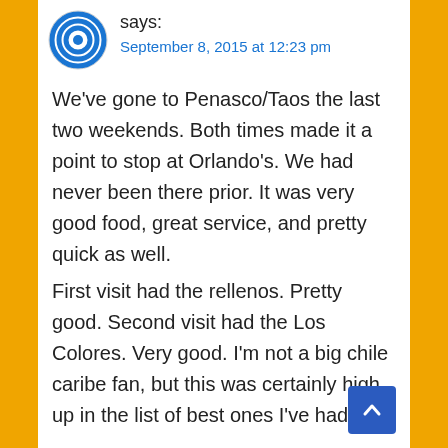[Figure (logo): Circular avatar icon with blue concentric rings/eye design]
says:
September 8, 2015 at 12:23 pm
We've gone to Penasco/Taos the last two weekends. Both times made it a point to stop at Orlando's. We had never been there prior. It was very good food, great service, and pretty quick as well.
First visit had the rellenos. Pretty good. Second visit had the Los Colores. Very good. I'm not a big chile caribe fan, but this was certainly high up in the list of best ones I've had.